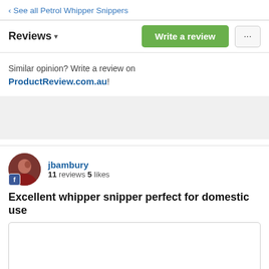‹ See all Petrol Whipper Snippers
Reviews ▾
Write a review
Similar opinion? Write a review on ProductReview.com.au!
jbambury
11 reviews 5 likes
Excellent whipper snipper perfect for domestic use